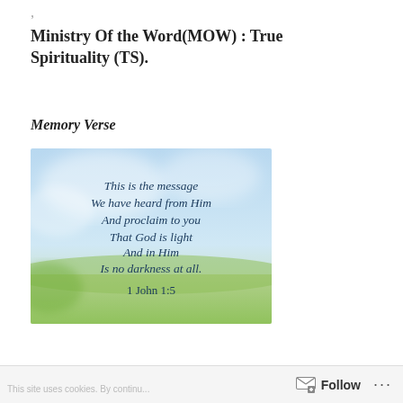Ministry Of the Word(MOW) : True Spirituality (TS).
Memory Verse
[Figure (illustration): A scripture verse image with a sky and green field background. Text reads: 'This is the message We have heard from Him And proclaim to you That God is light And in Him Is no darkness at all. 1 John 1:5']
Follow ...